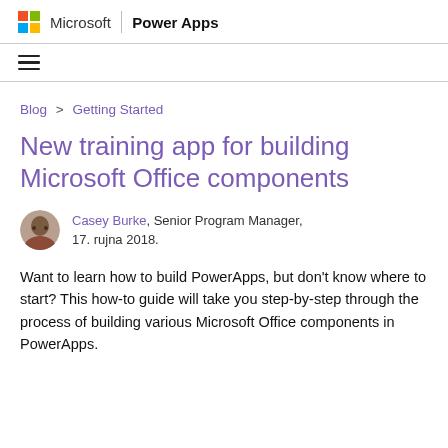Microsoft | Power Apps
[Figure (logo): Microsoft colorful four-square logo and Power Apps branding header]
Blog > Getting Started
New training app for building Microsoft Office components
Casey Burke, Senior Program Manager, 17. rujna 2018.
Want to learn how to build PowerApps, but don't know where to start? This how-to guide will take you step-by-step through the process of building various Microsoft Office components in PowerApps.